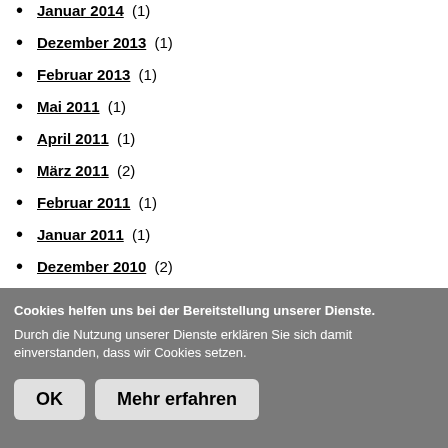Januar 2014 (1)
Dezember 2013 (1)
Februar 2013 (1)
Mai 2011 (1)
April 2011 (1)
März 2011 (2)
Februar 2011 (1)
Januar 2011 (1)
Dezember 2010 (2)
August 2010 (1)
Cookies helfen uns bei der Bereitstellung unserer Dienste. Durch die Nutzung unserer Dienste erklären Sie sich damit einverstanden, dass wir Cookies setzen.
OK  Mehr erfahren